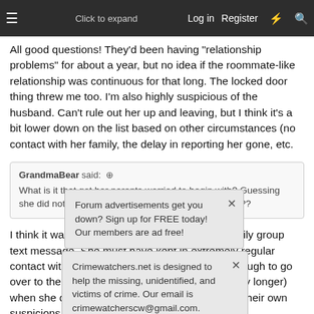≡  Click to expand  Log in  Register  ⚡  🔍
All good questions! They'd been having "relationship problems" for about a year, but no idea if the roommate-like relationship was continuous for that long. The locked door thing threw me too. I'm also highly suspicious of the husband. Can't rule out her up and leaving, but I think it's a bit lower down on the list based on other circumstances (no contact with her family, the delay in reporting her gone, etc.
GrandmaBear said: ⊕
What is it that got her parents worried to begin with? Guessing she did not answer her phone for a day or something??
I think it was that she wasn't responding in a family group text message. She must have kept in extremely regular contact with her family for them to be worried enough to go over to the house after just a day (perhaps slightly longer) when she didn't respond. Either that or they had their own suspicions about things going on in the home.
Forum advertisements get you down? Sign up for FREE today! Our members are ad free!
Crimewatchers.net is designed to help the missing, unidentified, and victims of crime. Our email is crimewatcherscw@gmail.com.